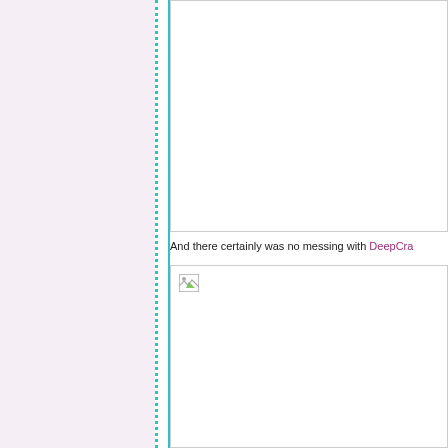[Figure (other): Top image placeholder with border, content not loaded]
And there certainly was no messing with DeepCra...
[Figure (other): Bottom image placeholder with broken image icon, content not loaded]